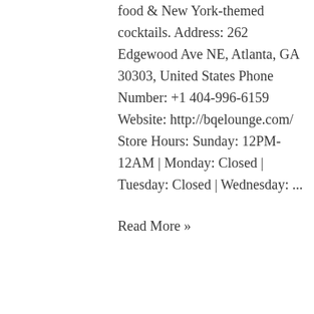food & New York-themed cocktails. Address: 262 Edgewood Ave NE, Atlanta, GA 30303, United States Phone Number: +1 404-996-6159 Website: http://bqelounge.com/ Store Hours: Sunday: 12PM-12AM | Monday: Closed | Tuesday: Closed | Wednesday: ...
Read More »